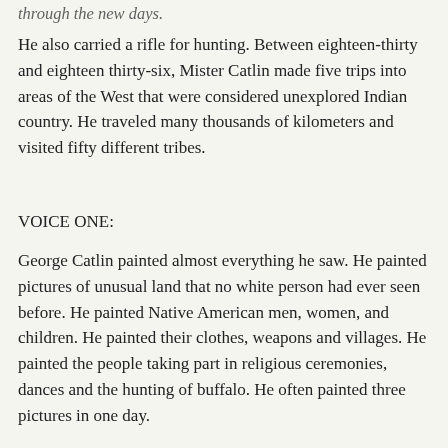through the new days.
He also carried a rifle for hunting. Between eighteen-thirty and eighteen thirty-six, Mister Catlin made five trips into areas of the West that were considered unexplored Indian country. He traveled many thousands of kilometers and visited fifty different tribes.
VOICE ONE:
George Catlin painted almost everything he saw. He painted pictures of unusual land that no white person had ever seen before. He painted Native American men, women, and children. He painted their clothes, weapons and villages. He painted the people taking part in religious ceremonies, dances and the hunting of buffalo. He often painted three pictures in one day.